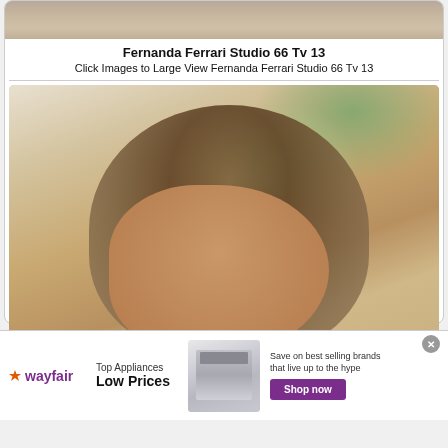[Figure (photo): Top cropped photo strip showing textured background]
Fernanda Ferrari Studio 66 Tv 13
Click Images to Large View Fernanda Ferrari Studio 66 Tv 13
[Figure (photo): Photo of woman with long wavy brown/blonde hair in an indoor setting with plants visible in background]
infolinks
[Figure (infographic): Wayfair advertisement banner: Top Appliances Low Prices, Save on best selling brands that live up to the hype, Shop now button]